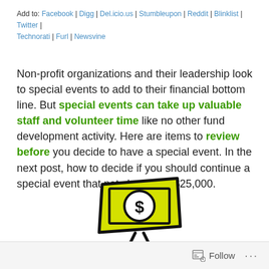Add to: Facebook | Digg | Del.icio.us | Stumbleupon | Reddit | Blinklist | Twitter | Technorati | Furl | Newsvine
Non-profit organizations and their leadership look to special events to add to their financial bottom line. But special events can take up valuable staff and volunteer time like no other fund development activity. Here are items to review before you decide to have a special event. In the next post, how to decide if you should continue a special event that nets less than $25,000.
[Figure (illustration): Cartoon illustration of a yellow dollar bill / money note with a dollar sign circle in the center and a stick figure on legs beneath it, drawn in bold black lines on yellow background]
1.
Follow ...